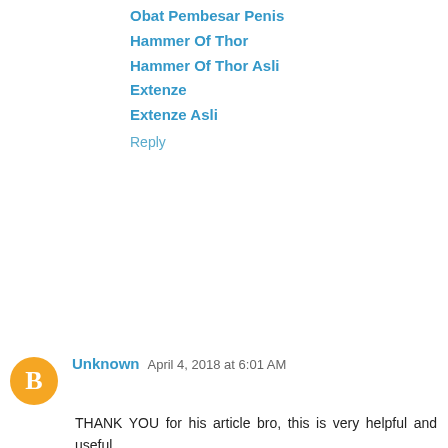Obat Pembesar Penis
Hammer Of Thor
Hammer Of Thor Asli
Extenze
Extenze Asli
Reply
Unknown  April 4, 2018 at 6:01 AM
THANK YOU for his article bro, this is very helpful and useful
I hope to see your other articles
Obat Pembesar Penis
Extenze
Extenze
Extenze
Ciri Ciri Extenze Asli
Reply